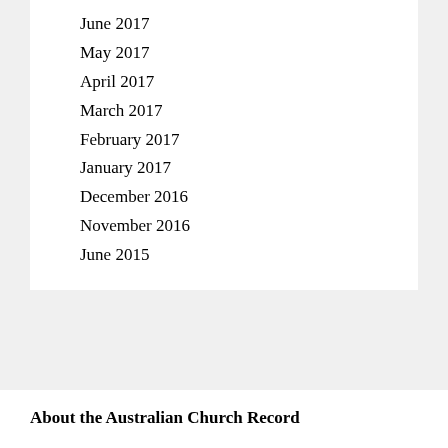June 2017
May 2017
April 2017
March 2017
February 2017
January 2017
December 2016
November 2016
June 2015
About the Australian Church Record
The Australian Church Record is an evangelical newspaper in the Reformed Anglican tradition of the historic creeds and the 39 Articles of Faith, and the standard of teaching